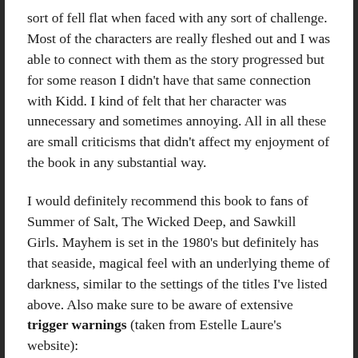sort of fell flat when faced with any sort of challenge. Most of the characters are really fleshed out and I was able to connect with them as the story progressed but for some reason I didn't have that same connection with Kidd. I kind of felt that her character was unnecessary and sometimes annoying. All in all these are small criticisms that didn't affect my enjoyment of the book in any substantial way.
I would definitely recommend this book to fans of Summer of Salt, The Wicked Deep, and Sawkill Girls. Mayhem is set in the 1980's but definitely has that seaside, magical feel with an underlying theme of darkness, similar to the settings of the titles I've listed above. Also make sure to be aware of extensive trigger warnings (taken from Estelle Laure's website):